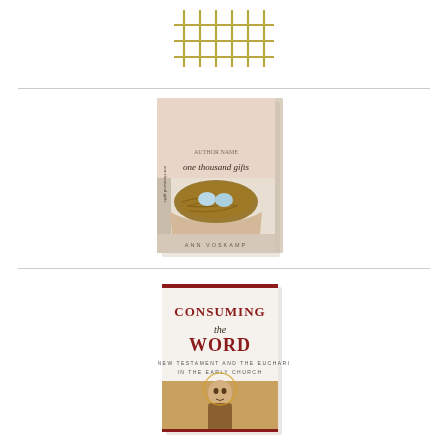[Figure (logo): Gold/olive colored grid or hashtag logo mark made of intersecting vertical and horizontal lines]
[Figure (photo): Book cover of 'One Thousand Gifts' by Ann Voskamp - shows a person holding a bird's nest with two blue eggs, with cursive script title]
[Figure (photo): Book cover of 'Consuming the Word: The New Testament and the Eucharist in the Early Church' - white cover with red and dark text, featuring a religious painting at the bottom]